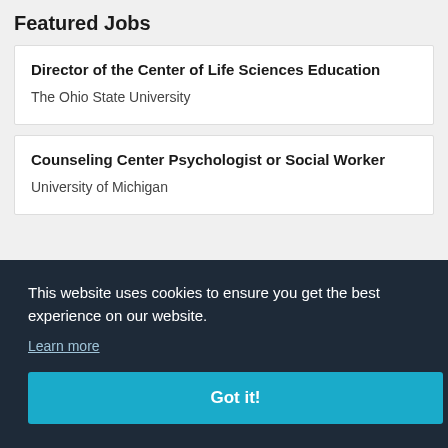Featured Jobs
Director of the Center of Life Sciences Education
The Ohio State University
Counseling Center Psychologist or Social Worker
University of Michigan
This website uses cookies to ensure you get the best experience on our website.
Learn more
Got it!